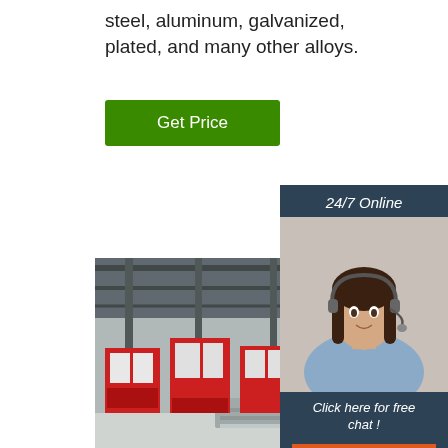steel, aluminum, galvanized, plated, and many other alloys.
[Figure (other): Green 'Get Price' button]
[Figure (photo): Side widget with customer service agent photo, '24/7 Online' header, 'Click here for free chat!' text, and orange 'QUOTATION' button]
[Figure (photo): Industrial warehouse interior showing metal sheets and red machinery under a steel roof structure]